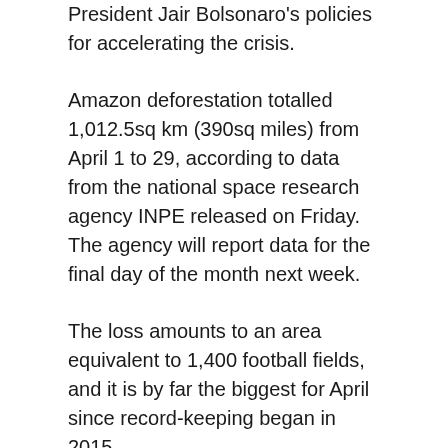President Jair Bolsonaro's policies for accelerating the crisis.
Amazon deforestation totalled 1,012.5sq km (390sq miles) from April 1 to 29, according to data from the national space research agency INPE released on Friday. The agency will report data for the final day of the month next week.
The loss amounts to an area equivalent to 1,400 football fields, and it is by far the biggest for April since record-keeping began in 2015.
The record – the third in four months – also marks the latest damning statistic on Amazon deforestation under Bolsonaro, who since taking office in 2019 has weakened environmental protections that he says hinder economic development that could reduce poverty in the region.
“The cause of this record has a first and last name: Jair